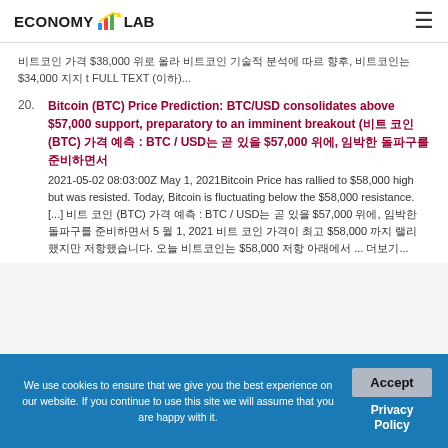ECONOMY LAB (logo with chart icon) ≡
비트코인 가격 $38,000 위로 올라 비트코인 기술적 분석에 따르 향후, 비트코인는 $34,000 지지 t FULL TEXT (이하)...
20. Bitcoin (BTC) Price Prediction: BTC/USD consolidates above $57,000 support, preparatory to an imminent breakout (비트 코인 (BTC) 가격 예측 : BTC / USD는 곧 있을 $57,000 위에, 임박한 돌파구를 준비하면서 2021-05-02 08:03:00Z May 1, 2021Bitcoin Price has rallied to $58,000 high but was resisted. Today, Bitcoin is fluctuating below the $58,000 resistance. [...] 비트 코인 (BTC) 가격 예측 : BTC / USD는 곧 있을 $57,000 위에, 임박한 돌파구를 준비하면서 5 월 1, 2021 비트 코인 가격이 최고 $58,000 까지 랠리 했지만 저항했습니다. 오늘 비트코인는 $58,000 저항 아래에서 ... 더보기...